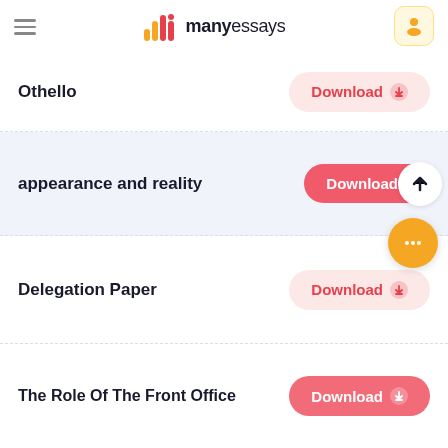manyessays
Othello
appearance and reality
Delegation Paper
The Role Of The Front Office